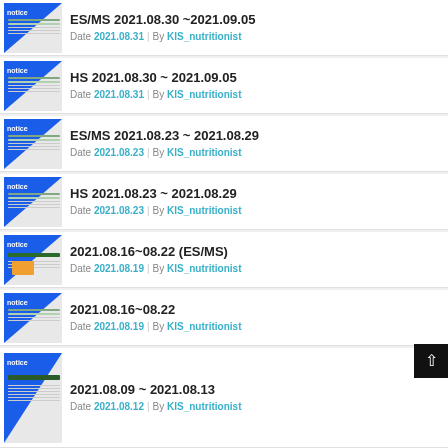ES/MS 2021.08.30 ~2021.09.05 | Date 2021.08.31 | By KIS_nutritionist
HS 2021.08.30 ~ 2021.09.05 | Date 2021.08.31 | By KIS_nutritionist
ES/MS 2021.08.23 ~ 2021.08.29 | Date 2021.08.23 | By KIS_nutritionist
HS 2021.08.23 ~ 2021.08.29 | Date 2021.08.23 | By KIS_nutritionist
2021.08.16~08.22 (ES/MS) | Date 2021.08.19 | By KIS_nutritionist
2021.08.16~08.22 | Date 2021.08.19 | By KIS_nutritionist
2021.08.09 ~ 2021.08.13 | Date 2021.08.12 | By KIS_nutritionist